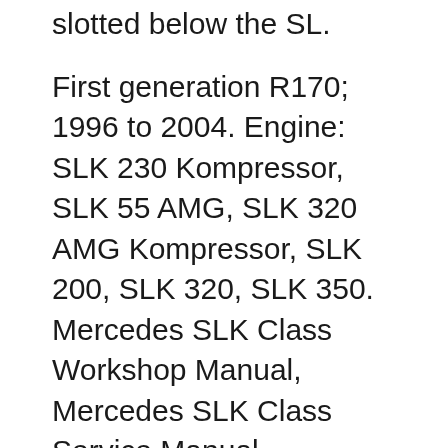slotted below the SL.
First generation R170; 1996 to 2004. Engine: SLK 230 Kompressor, SLK 55 AMG, SLK 320 AMG Kompressor, SLK 200, SLK 320, SLK 350. Mercedes SLK Class Workshop Manual, Mercedes SLK Class Service Manual, Mercedes SLK Class Repair Manual, Mercedes SLK Class Wiring Diagrams Download Today! Please Share. Twitter. Tweet. MERCEDES-BENZ SLK 230 KOMPRESSOR 2003 R170 Manual PDF view, print and download online for free. 304 Pages, PDF Size 6.04 MB. Search in MERCEDES-BENZ SLK 230 KOMPRESSOR 2003 R170 Manual PDF online. CarManualsOnline.info is the largest